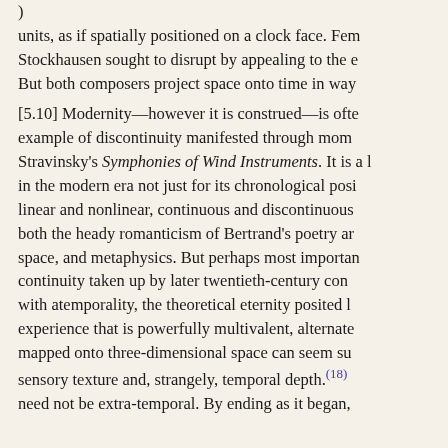) units, as if spatially positioned on a clock face. Fern Stockhausen sought to disrupt by appealing to the e But both composers project space onto time in way
[5.10] Modernity—however it is construed—is ofte example of discontinuity manifested through mom Stravinsky's Symphonies of Wind Instruments. It is a l in the modern era not just for its chronological posi linear and nonlinear, continuous and discontinuous both the heady romanticism of Bertrand's poetry ar space, and metaphysics. But perhaps most importan continuity taken up by later twentieth-century co with atemporality, the theoretical eternity posited l experience that is powerfully multivalent, alternate mapped onto three-dimensional space can seem su sensory texture and, strangely, temporal depth.(18) need not be extra-temporal. By ending as it began,